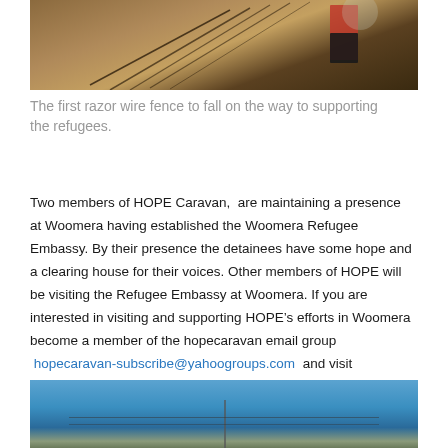[Figure (photo): Photo of razor wire fence being pulled down, person visible in background walking on dirt ground]
The first razor wire fence to fall on the way to supporting the refugees.
Two members of HOPE Caravan,  are maintaining a presence at Woomera having established the Woomera Refugee Embassy. By their presence the detainees have some hope and a clearing house for their voices. Other members of HOPE will be visiting the Refugee Embassy at Woomera. If you are interested in visiting and supporting HOPE’s efforts in Woomera become a member of the hopecaravan email group  hopecaravan-subscribe@yahoogroups.com  and visit  http://groups.yahoo.com/group/hopecaravan/
[Figure (photo): Photo of a fence with barbed wire against a clear blue sky, pole visible in center]